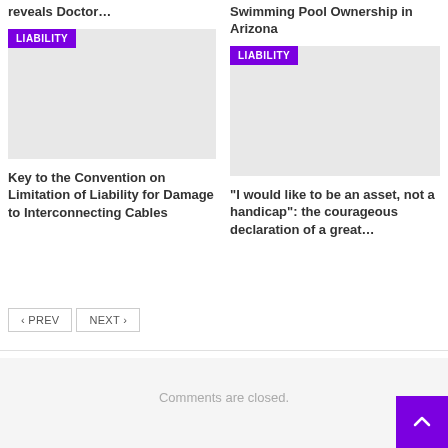reveals Doctor…
Swimming Pool Ownership in Arizona
[Figure (other): Gray image placeholder with purple LIABILITY badge in top-left corner]
[Figure (other): Gray image placeholder with purple LIABILITY badge in top-left corner]
Key to the Convention on Limitation of Liability for Damage to Interconnecting Cables
“I would like to be an asset, not a handicap”: the courageous declaration of a great…
‹ PREV  NEXT ›
Comments are closed.